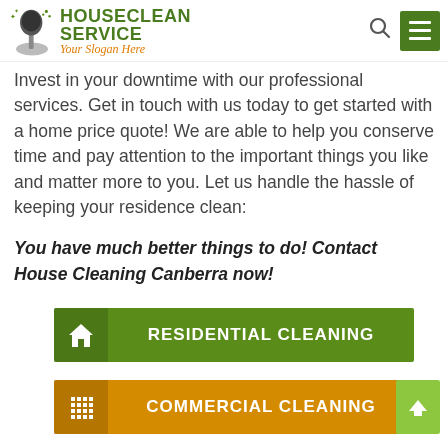[Figure (logo): HouseClean Service logo with cleaning equipment icon, green bold text 'HOUSECLEAN SERVICE' and orange italic slogan 'Your Slogan Here']
Invest in your downtime with our professional services. Get in touch with us today to get started with a home price quote! We are able to help you conserve time and pay attention to the important things you like and matter more to you. Let us handle the hassle of keeping your residence clean:
You have much better things to do! Contact House Cleaning Canberra now!
RESIDENTIAL CLEANING
COMMERCIAL CLEANING